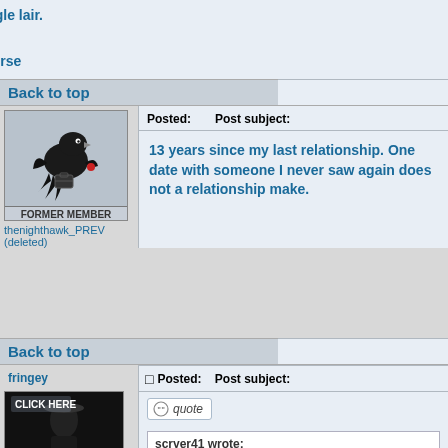Shun him. Drive him back into his jungle lair. For he is the harbinger of death.
The Sacred Scrolls: 29th Scroll, 6th Verse
Back to top
Posted:    Post subject:
[Figure (illustration): Avatar of a cartoon bird/crow figure with a briefcase, labeled FORMER MEMBER]
thenighthawk_PREV (deleted)
13 years since my last relationship. One date with someone I never saw again does not a relationship make.
Back to top
fringey
Posted:    Post subject:
quote
scryer41 wrote:
You'll be at 13? Years? I'm a bit corn-fused. It's been a year since your last date?
Well, anyway, she did call back. She said she'd like to go...
[Figure (photo): Dark photo with text CLICK HERE and SECRET PHOTO]